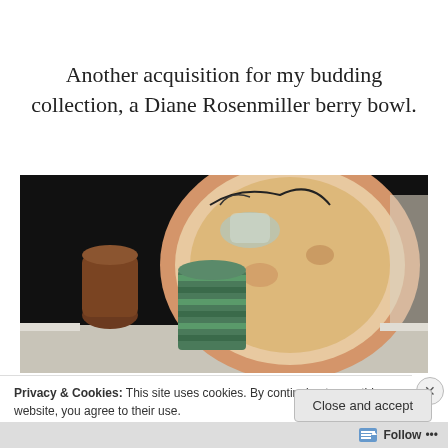Another acquisition for my budding collection, a Diane Rosenmiller berry bowl.
[Figure (photo): A photograph showing a green striped ceramic cup or vase in front of a round decorative plate, on a dark background with some items on a table.]
Privacy & Cookies: This site uses cookies. By continuing to use this website, you agree to their use.
To find out more, including how to control cookies, see here: Cookie Policy
Close and accept
Follow